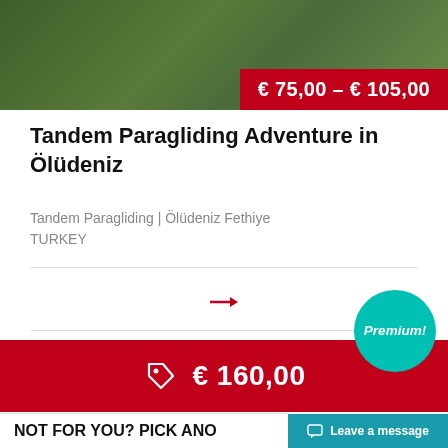[Figure (photo): Aerial photo of green landscape used as top banner image for paragliding tour listing]
€ 75,00 – € 105,00
Tandem Paragliding Adventure in Ölüdeniz
Tandem Paragliding | Ölüdeniz Fethiye
TURKEY
→
Premium!
€ 160,00
One tour per person
NOT FOR YOU? PICK ANO
Leave a message